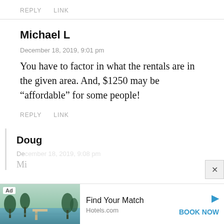REPLY   LINK
Michael L
December 18, 2019, 9:01 pm
You have to factor in what the rentals are in the given area. And, $1250 may be “affordable” for some people!
REPLY   LINK
Doug
December 18, 2019, 9:08 pm
[Figure (screenshot): Ad banner for Hotels.com showing a tropical waterfront scene with text 'Find Your Match', 'Hotels.com', and a 'BOOK NOW' call-to-action button, with a play triangle icon and 'Ad' label.]